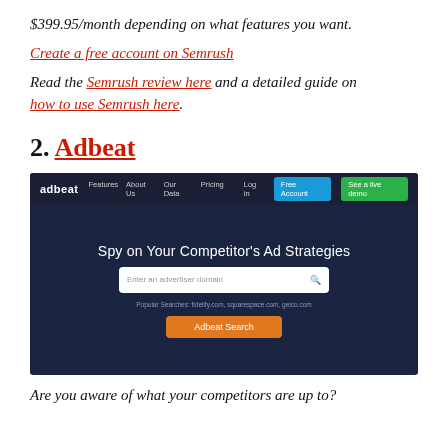$399.95/month depending on what features you want.
Create a free account on Semrush
Read the Semrush review here and a detailed guide on how to use Semrush here.
2. Adbeat
[Figure (screenshot): Screenshot of the Adbeat website homepage showing navigation bar with logo, Features, About Us, Our Data, Pricing links, Log in, Free Account and See a live demo buttons, and main content with headline 'Spy on Your Competitor's Ad Strategies', a search box with placeholder 'Enter an advertiser domain', popular searches text, and an orange Adbeat Search button.]
Are you aware of what your competitors are up to?